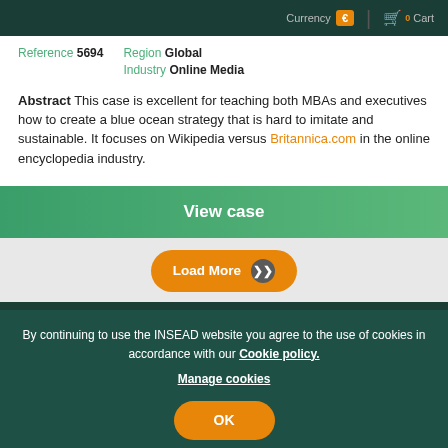Currency € | 0 Cart
Reference 5694
Region Global
Industry Online Media
Abstract This case is excellent for teaching both MBAs and executives how to create a blue ocean strategy that is hard to imitate and sustainable. It focuses on Wikipedia versus Britannica.com in the online encyclopedia industry.
View case
Load More
By continuing to use the INSEAD website you agree to the use of cookies in accordance with our Cookie policy.
Manage cookies
OK